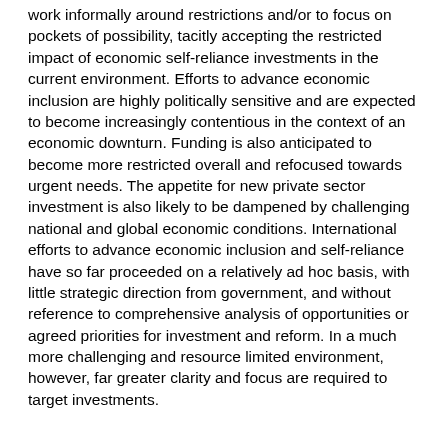work informally around restrictions and/or to focus on pockets of possibility, tacitly accepting the restricted impact of economic self-reliance investments in the current environment. Efforts to advance economic inclusion are highly politically sensitive and are expected to become increasingly contentious in the context of an economic downturn. Funding is also anticipated to become more restricted overall and refocused towards urgent needs. The appetite for new private sector investment is also likely to be dampened by challenging national and global economic conditions. International efforts to advance economic inclusion and self-reliance have so far proceeded on a relatively ad hoc basis, with little strategic direction from government, and without reference to comprehensive analysis of opportunities or agreed priorities for investment and reform. In a much more challenging and resource limited environment, however, far greater clarity and focus are required to target investments.